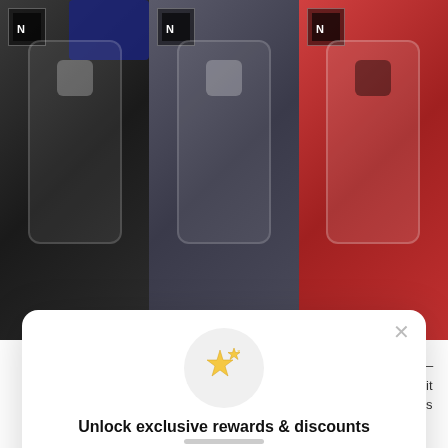[Figure (photo): Three phone cases displayed side by side: black/charcoal leather-style case, grey leather-style case, and red case, each shown as a Redmi Note 9 Pro case against light backgrounds]
[Figure (screenshot): Modal popup overlay with sparkles icon, heading 'Unlock exclusive rewards & discounts', subtext 'Sign up or Log in', a dark 'Sign up' button, and 'Already have an account? Sign in' link]
Unlock exclusive rewards & discounts
Sign up or Log in
Sign up
Already have an account? Sign in